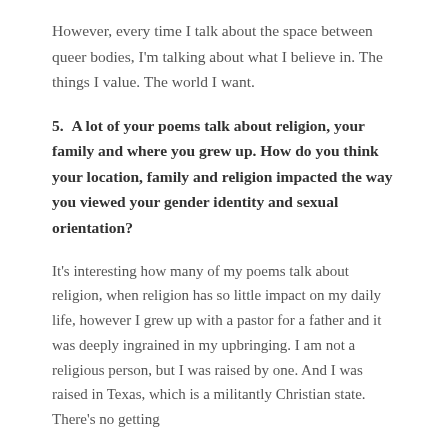However, every time I talk about the space between queer bodies, I'm talking about what I believe in. The things I value. The world I want.
5.  A lot of your poems talk about religion, your family and where you grew up. How do you think your location, family and religion impacted the way you viewed your gender identity and sexual orientation?
It's interesting how many of my poems talk about religion, when religion has so little impact on my daily life, however I grew up with a pastor for a father and it was deeply ingrained in my upbringing. I am not a religious person, but I was raised by one. And I was raised in Texas, which is a militantly Christian state. There's no getting